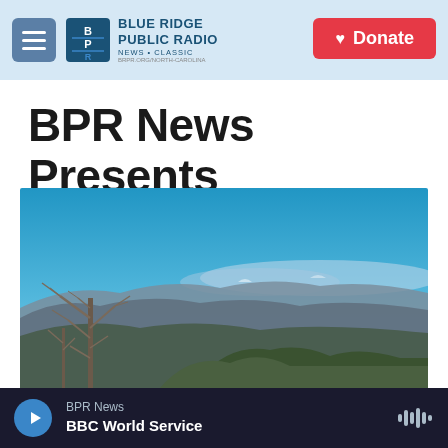Blue Ridge Public Radio — NEWS • CLASSIC
BPR News Presents
[Figure (photo): Panoramic mountain landscape photo showing rolling blue ridge mountains under a clear blue sky, with bare deciduous trees and evergreen shrubs in the foreground.]
BPR News — BBC World Service (audio player)